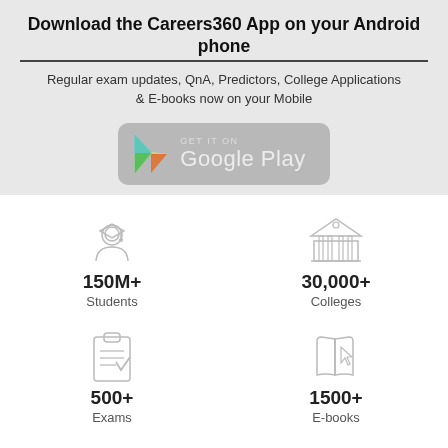Download the Careers360 App on your Android phone
Regular exam updates, QnA, Predictors, College Applications & E-books now on your Mobile
[Figure (logo): Google Play Store download button with Play triangle logo]
[Figure (infographic): Four statistics: 150M+ Students, 30,000+ Colleges, 500+ Exams, 1500+ E-books with icons]